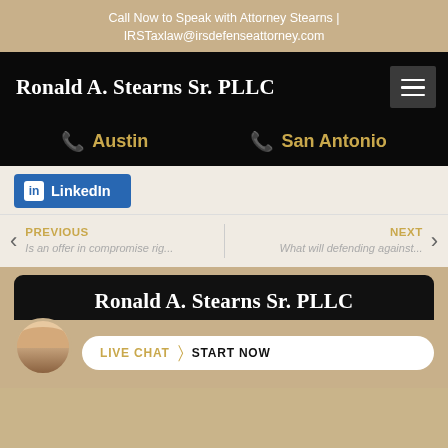Call Now to Speak with Attorney Stearns | IRSTaxlaw@irsdefenseattorney.com
Ronald A. Stearns Sr. PLLC
Austin   San Antonio
LinkedIn
PREVIOUS
Is an offer in compromise rig...
NEXT
What will defending against...
Ronald A. Stearns Sr. PLLC
LIVE CHAT  START NOW